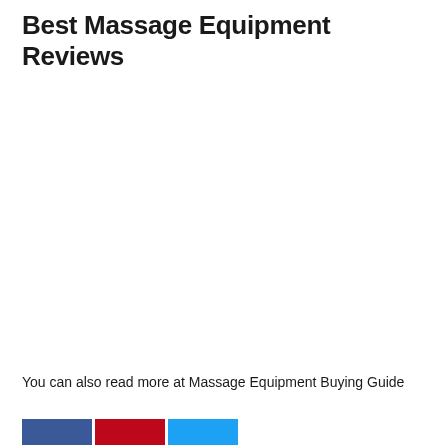Best Massage Equipment Reviews
You can also read more at Massage Equipment Buying Guide
[Figure (other): Social sharing buttons: Facebook (blue), Pinterest (red), Twitter (light blue)]